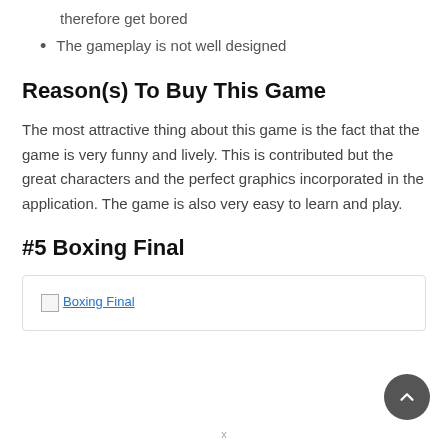therefore get bored
The gameplay is not well designed
Reason(s) To Buy This Game
The most attractive thing about this game is the fact that the game is very funny and lively. This is contributed but the great characters and the perfect graphics incorporated in the application. The game is also very easy to learn and play.
#5 Boxing Final
[Figure (photo): Broken image placeholder labeled 'Boxing Final']